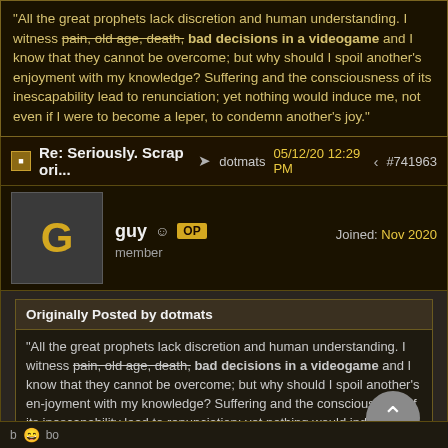"All the great prophets lack discretion and human understanding. I witness pain, old age, death, bad decisions in a videogame and I know that they cannot be overcome; but why should I spoil another's enjoyment with my knowledge? Suffering and the consciousness of its inescapability lead to renunciation; yet nothing would induce me, not even if I were to become a leper, to condemn another's joy."
Re: Seriously. Scrap ori... → dotmats 05/12/20 12:29 PM < #741963
guy ☺ OP member Joined: Nov 2020
Originally Posted by dotmats
"All the great prophets lack discretion and human understanding. I witness pain, old age, death, bad decisions in a videogame and I know that they cannot be overcome; but why should I spoil another's en-joyment with my knowledge? Suffering and the consciousness of its inescapability lead to renunciation; yet nothing would induce me, not even if I were to become a leper, to condemn another's joy."